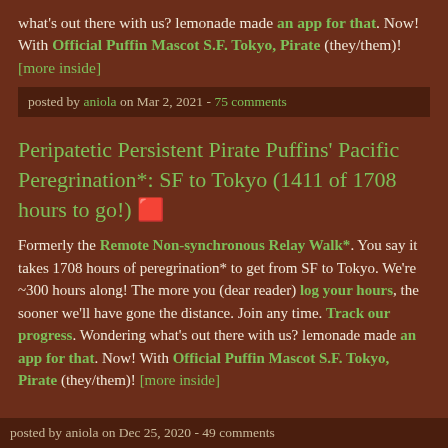what's out there with us? lemonade made an app for that. Now! With Official Puffin Mascot S.F. Tokyo, Pirate (they/them)! [more inside]
posted by aniola on Mar 2, 2021 - 75 comments
Peripatetic Persistent Pirate Puffins' Pacific Peregrination*: SF to Tokyo (1411 of 1708 hours to go!) 🟥
Formerly the Remote Non-synchronous Relay Walk*. You say it takes 1708 hours of peregrination* to get from SF to Tokyo. We're ~300 hours along! The more you (dear reader) log your hours, the sooner we'll have gone the distance. Join any time. Track our progress. Wondering what's out there with us? lemonade made an app for that. Now! With Official Puffin Mascot S.F. Tokyo, Pirate (they/them)! [more inside]
posted by aniola on Dec 25, 2020 - 49 comments